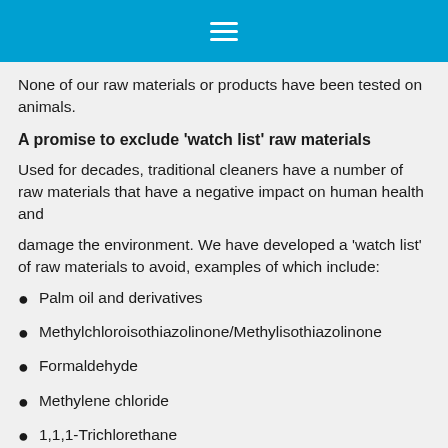≡
None of our raw materials or products have been tested on animals.
A promise to exclude 'watch list' raw materials
Used for decades, traditional cleaners have a number of raw materials that have a negative impact on human health and
damage the environment. We have developed a 'watch list' of raw materials to avoid, examples of which include:
Palm oil and derivatives
Methylchloroisothiazolinone/Methylisothiazolinone
Formaldehyde
Methylene chloride
1,1,1-Trichlorethane